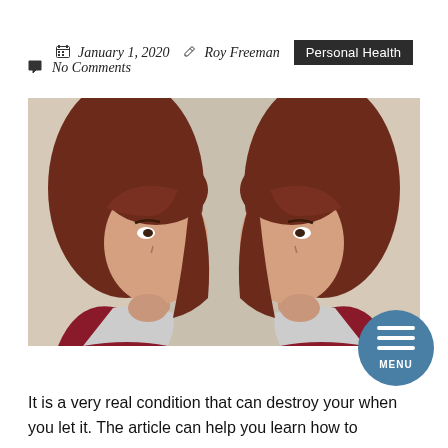January 1, 2020  Roy Freeman  Personal Health  No Comments
[Figure (photo): Mirrored image of a young woman with auburn hair resting her chin on her hand, looking thoughtfully upward, shown twice side by side facing each other.]
It is a very real condition that can destroy your when you let it. The article can help you learn how to